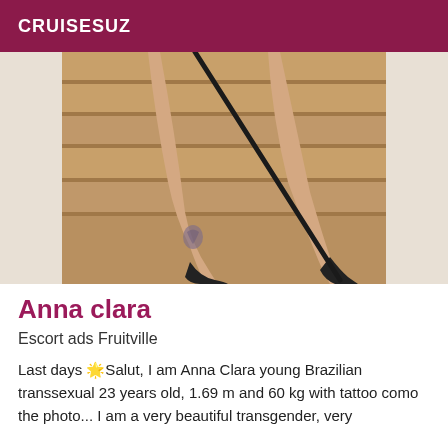CRUISESUZ
[Figure (photo): A person's legs visible from above knee, wearing black high heels, standing on wooden staircase steps, holding a black riding crop/cane. Person has a tattoo on their ankle.]
Anna clara
Escort ads Fruitville
Last days 🌟Salut, I am Anna Clara young Brazilian transsexual 23 years old, 1.69 m and 60 kg with tattoo como the photo... I am a very beautiful transgender, very